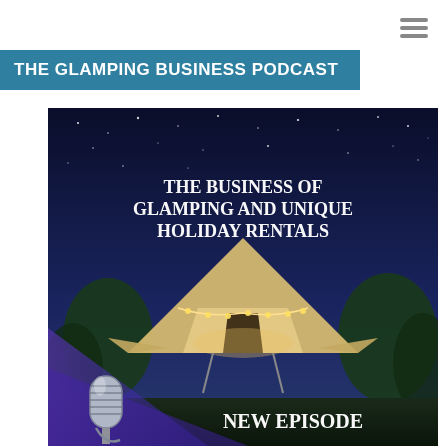THE GLAMPING BUSINESS PODCAST
[Figure (illustration): Podcast promotional image showing a large glamping tent illuminated at night under a starry sky, with text overlay 'THE BUSINESS OF GLAMPING AND UNIQUE HOLIDAY RENTALS' and 'NEW EPISODE', a microphone in the lower left corner, and a purple geometric overlay in the lower portion.]